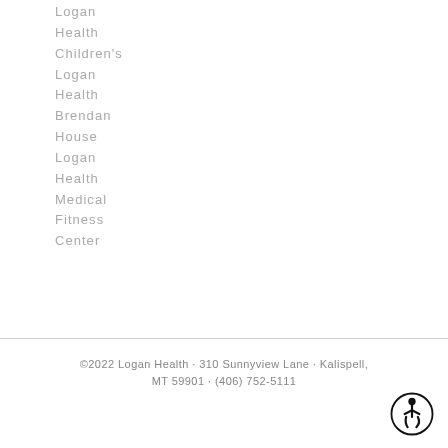Logan
Health
Children's
Logan
Health
Brendan
House
Logan
Health
Medical
Fitness
Center
©2022 Logan Health · 310 Sunnyview Lane · Kalispell, MT 59901 · (406) 752-5111